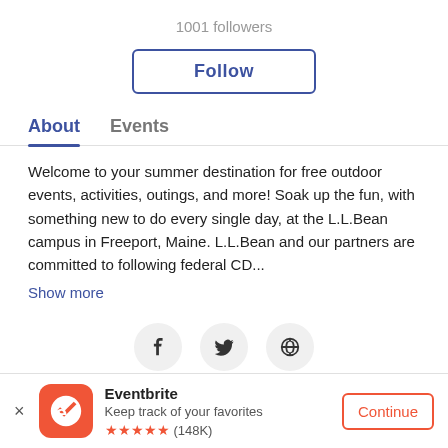1001 followers
Follow
About   Events
Welcome to your summer destination for free outdoor events, activities, outings, and more! Soak up the fun, with something new to do every single day, at the L.L.Bean campus in Freeport, Maine. L.L.Bean and our partners are committed to following federal CD...
Show more
[Figure (infographic): Three social media icon buttons: Facebook (f), Twitter (bird), and globe/web icon, each in a light gray circle.]
× Eventbrite Keep track of your favorites ★★★★★ (148K) Continue